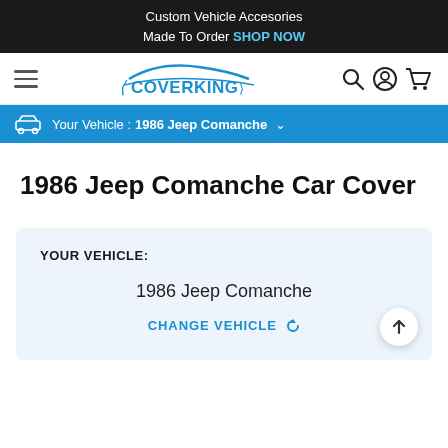Custom Vehicle Accesories
Made To Order SHOP NOW
[Figure (logo): Coverking logo with car silhouette and brand name in blue]
Your Vehicle : 1986 Jeep Comanche
1986 Jeep Comanche Car Cover
YOUR VEHICLE:
1986 Jeep Comanche
CHANGE VEHICLE